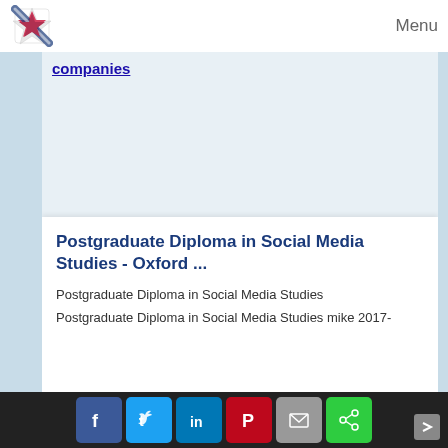Menu
companies
Postgraduate Diploma in Social Media Studies - Oxford ...
Postgraduate Diploma in Social Media Studies
Postgraduate Diploma in Social Media Studies mike 2017-